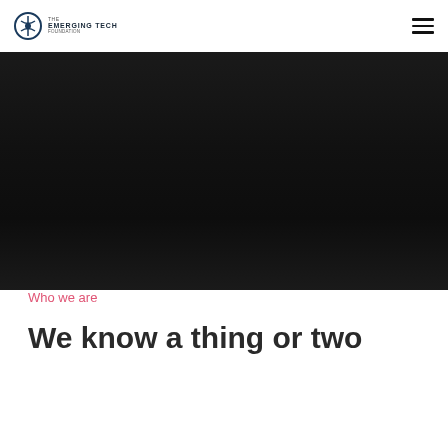THE EMERGING TECH FOUNDATION
[Figure (photo): Dark hero image with near-black background, gradient from dark gray to black]
Who we are
We know a thing or two